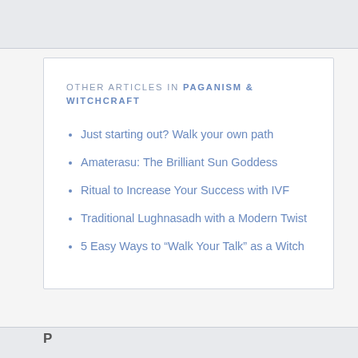OTHER ARTICLES IN PAGANISM & WITCHCRAFT
Just starting out? Walk your own path
Amaterasu: The Brilliant Sun Goddess
Ritual to Increase Your Success with IVF
Traditional Lughnasadh with a Modern Twist
5 Easy Ways to “Walk Your Talk” as a Witch